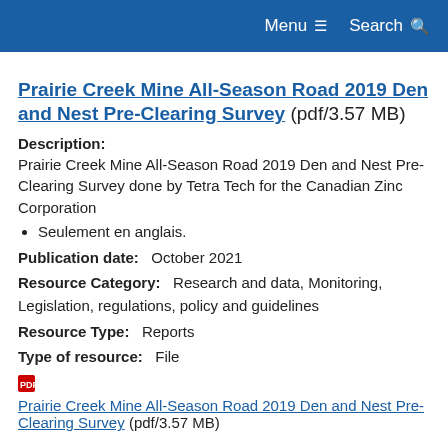Menu  Search
Prairie Creek Mine All-Season Road 2019 Den and Nest Pre-Clearing Survey (pdf/3.57 MB)
Description: Prairie Creek Mine All-Season Road 2019 Den and Nest Pre-Clearing Survey done by Tetra Tech for the Canadian Zinc Corporation
Seulement en anglais.
Publication date:   October 2021
Resource Category:   Research and data, Monitoring, Legislation, regulations, policy and guidelines
Resource Type:   Reports
Type of resource:   File
Prairie Creek Mine All-Season Road 2019 Den and Nest Pre-Clearing Survey (pdf/3.57 MB)